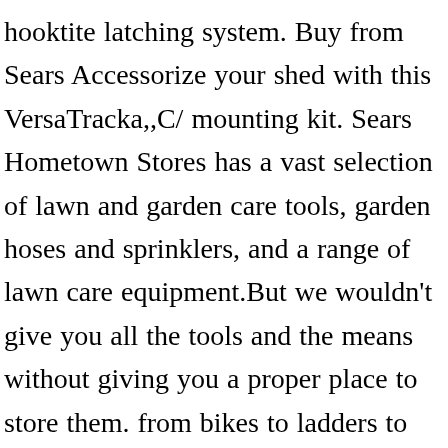hooktite latching system. Buy from Sears Accessorize your shed with this VersaTracka,,C/ mounting kit. Sears Hometown Stores has a vast selection of lawn and garden care tools, garden hoses and sprinklers, and a range of lawn care equipment.But we wouldn't give you all the tools and the means without giving you a proper place to store them. from bikes to ladders to lawn equipment, this versatile mounting system can be configured to better organize the random items that somehow found there way into your garage or